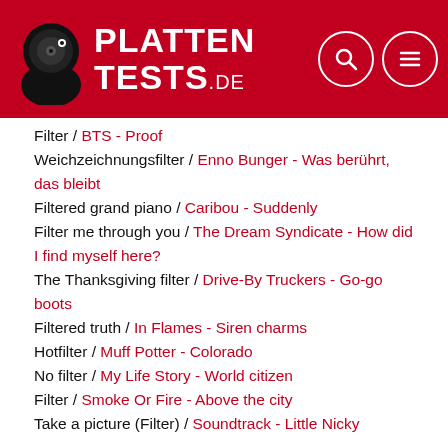[Figure (logo): Plattentests.de website header with red background, logo of man with vinyl record head, PLATTENTESTS.DE branding, search and menu icons]
Filter / BTS - Proof
Weichzeichnungsfilter / Enno Bunger - Was berührt, das bleibt
Filtered grand piano / Caribou - Suddenly
Filter me through you / The Dream Syndicate - How did I find myself here?
The Thanksgiving filter / Drive-By Truckers - Go-go boots
Filtered truth / In Flames - Siren charms
Hotfilter / Muff Potter - Colorado
No filter / My Life Story - World citizen
Filter / Smoke Or Fire - Above the city
Take a picture (Filter) / Soundtrack - Little Nicky
Referenzen 173 Treffer
Filter / 30 Seconds To Mars - A beautiful lie
Filter / 30 Seconds To Mars - This is war
Filter / A Perfect Circle - Eat the elephant
Filter / Architects - For those that wish to exist